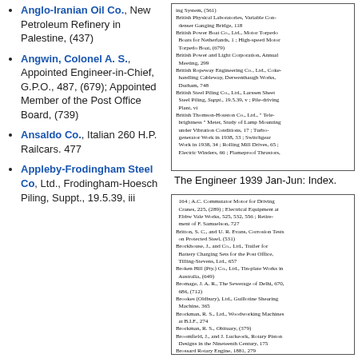Anglo-Iranian Oil Co., New Petroleum Refinery in Palestine, (437)
Angwin, Colonel A. S., Appointed Engineer-in-Chief, G.P.O., 487, (679); Appointed Member of the Post Office Board, (739)
Ansaldo Co., Italian 260 H.P. Railcars. 477
Appleby-Frodingham Steel Co, Ltd., Frodingham-Hoesch Piling, Suppt., 19.5.39, iii
[Figure (screenshot): Scanned index page from The Engineer 1939 Jan-Jun with entries for British companies and products]
The Engineer 1939 Jan-Jun: Index.
[Figure (screenshot): Scanned index page from The Engineer 1939 Jan-Jun with entries starting with Br- including Britton, Brockhouse, Broken Hill, Bromage, Brookes, Brockman, Broomfield, Brossard, Brown entries]